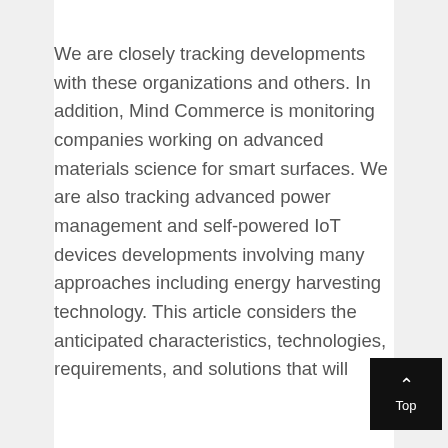We are closely tracking developments with these organizations and others. In addition, Mind Commerce is monitoring companies working on advanced materials science for smart surfaces. We are also tracking advanced power management and self-powered IoT devices developments involving many approaches including energy harvesting technology. This article considers the anticipated characteristics, technologies, requirements, and solutions that will